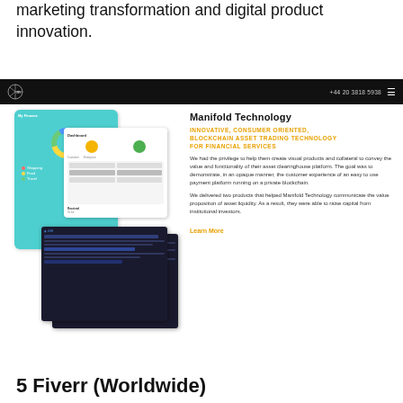marketing transformation and digital product innovation.
[Figure (screenshot): Screenshot of a website showing a navigation bar with logo and phone number +44 20 3818 5938, and a case study section for Manifold Technology featuring mobile app screenshots on the left and descriptive text on the right.]
Manifold Technology
INNOVATIVE, CONSUMER ORIENTED, BLOCKCHAIN ASSET TRADING TECHNOLOGY FOR FINANCIAL SERVICES
We had the privilege to help them create visual products and collateral to convey the value and functionality of their asset clearinghouse platform. The goal was to demonstrate, in an opaque manner, the customer experience of an easy to use payment platform running on a private blockchain.
We delivered two products that helped Manifold Technology communicate the value proposition of asset liquidity. As a result, they were able to raise capital from institutional investors.
Learn More
5 Fiverr (Worldwide)